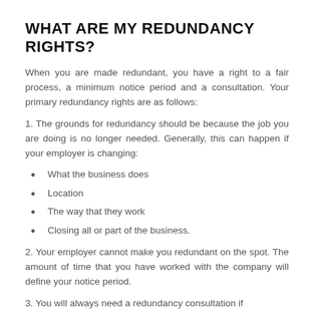WHAT ARE MY REDUNDANCY RIGHTS?
When you are made redundant, you have a right to a fair process, a minimum notice period and a consultation. Your primary redundancy rights are as follows:
1. The grounds for redundancy should be because the job you are doing is no longer needed. Generally, this can happen if your employer is changing:
What the business does
Location
The way that they work
Closing all or part of the business.
2. Your employer cannot make you redundant on the spot. The amount of time that you have worked with the company will define your notice period.
3. You will always need a redundancy consultation if